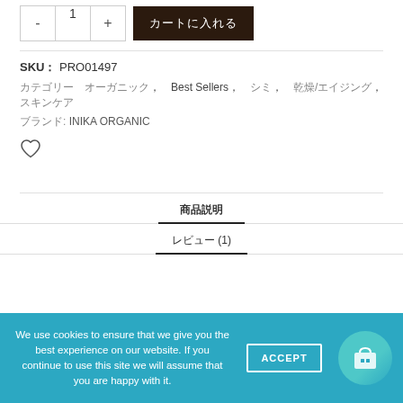- 1 + [カートに入れる]
SKU： PRO01497
カテゴリー: オーガニック, Best Sellers, シミ, 乾燥/エイジング, スキンケア
ブランド: INIKA ORGANIC
[Figure (illustration): Heart/wishlist icon outline]
商品説明
レビュー (1)
We use cookies to ensure that we give you the best experience on our website. If you continue to use this site we will assume that you are happy with it.
ACCEPT